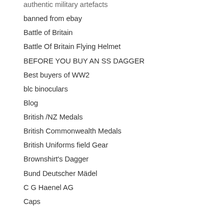authentic military artefacts
banned from ebay
Battle of Britain
Battle Of Britain Flying Helmet
BEFORE YOU BUY AN SS DAGGER
Best buyers of WW2
blc binoculars
Blog
British /NZ Medals
British Commonwealth Medals
British Uniforms field Gear
Brownshirt's Dagger
Bund Deutscher Mädel
C G Haenel AG
Caps